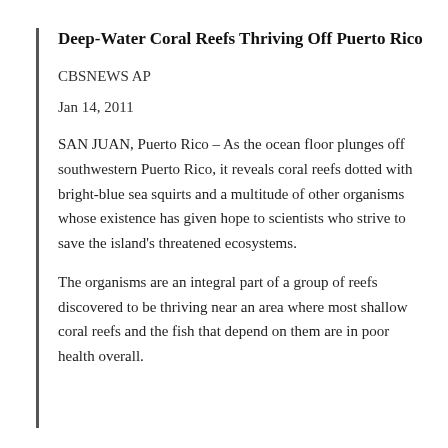Deep-Water Coral Reefs Thriving Off Puerto Rico
CBSNEWS AP
Jan 14, 2011
SAN JUAN, Puerto Rico – As the ocean floor plunges off southwestern Puerto Rico, it reveals coral reefs dotted with bright-blue sea squirts and a multitude of other organisms whose existence has given hope to scientists who strive to save the island's threatened ecosystems.
The organisms are an integral part of a group of reefs discovered to be thriving near an area where most shallow coral reefs and the fish that depend on them are in poor health overall.